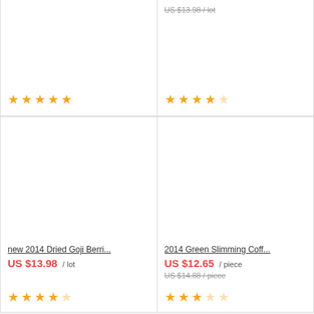[Figure (other): Product image placeholder (top-left card, cut off)]
★★★★★ (5 stars)
[Figure (other): Product image placeholder (top-right card, cut off)]
US $13.98 / lot (strikethrough, top-right)
★★★★☆ (4 stars, top-right)
[Figure (other): Product image placeholder (bottom-left card)]
new 2014 Dried Goji Berri...
US $13.98 / lot
★★★★☆ (4 stars, bottom-left)
[Figure (other): Product image placeholder (bottom-right card)]
2014 Green Slimming Coff...
US $12.65 / piece
US $14.88 / piece (strikethrough)
★★★☆☆ (3 stars, bottom-right)